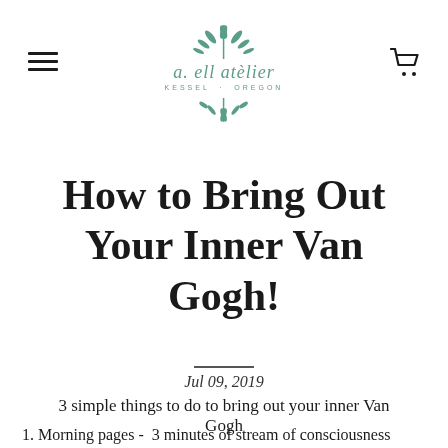a. ell atelier — KESSEL · OREGON
How to Bring Out Your Inner Van Gogh!
Jul 09, 2019
3 simple things to do to bring out your inner Van Gogh
1. Morning pages -  3 minutes of stream of consciousness